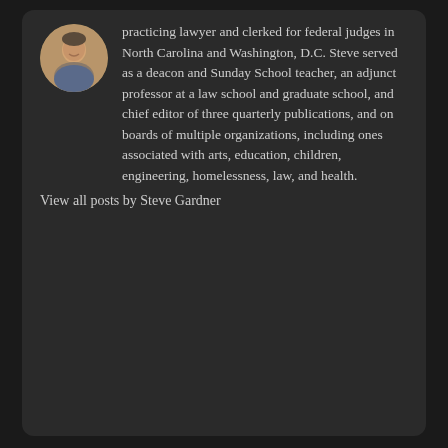[Figure (photo): Circular avatar photo of Steve Gardner, a man with a light background]
practicing lawyer and clerked for federal judges in North Carolina and Washington, D.C. Steve served as a deacon and Sunday School teacher, an adjunct professor at a law school and graduate school, and chief editor of three quarterly publications, and on boards of multiple organizations, including ones associated with arts, education, children, engineering, homelessness, law, and health.
View all posts by Steve Gardner